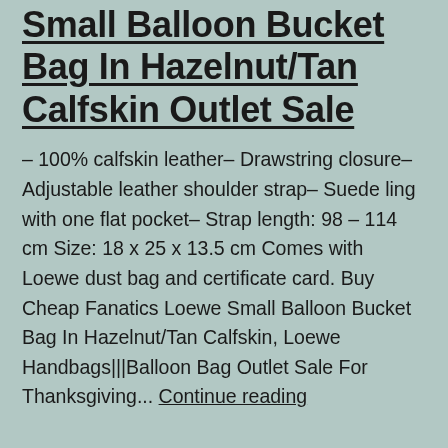Small Balloon Bucket Bag In Hazelnut/Tan Calfskin Outlet Sale
– 100% calfskin leather– Drawstring closure– Adjustable leather shoulder strap– Suede ling with one flat pocket– Strap length: 98 – 114 cm Size: 18 x 25 x 13.5 cm Comes with Loewe dust bag and certificate card. Buy Cheap Fanatics Loewe Small Balloon Bucket Bag In Hazelnut/Tan Calfskin, Loewe Handbags|||Balloon Bag Outlet Sale For Thanksgiving... Continue reading